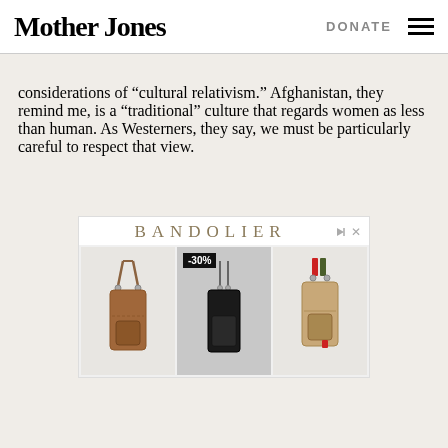Mother Jones | DONATE
considerations of “cultural relativism.” Afghanistan, they remind me, is a “traditional” culture that regards women as less than human. As Westerners, they say, we must be particularly careful to respect that view.
[Figure (other): Bandolier advertisement showing three crossbody phone case bags. The center product has a -30% discount badge. Left bag is brown leather, center is black, right has red and olive accents.]